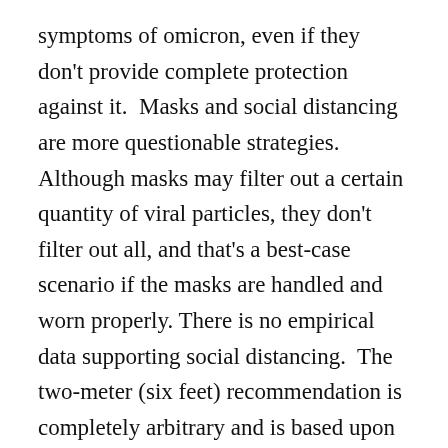symptoms of omicron, even if they don't provide complete protection against it.  Masks and social distancing are more questionable strategies.  Although masks may filter out a certain quantity of viral particles, they don't filter out all, and that's a best-case scenario if the masks are handled and worn properly.  There is no empirical data supporting social distancing.  The two-meter (six feet) recommendation is completely arbitrary and is based upon the likely distance droplets may travel.  Since most COVID infections are caused by inhalation of the aerosolized particles, the six feet distance is meaningless.  Both mask wearing and social distancing act more as social placebos than as meaningful protective